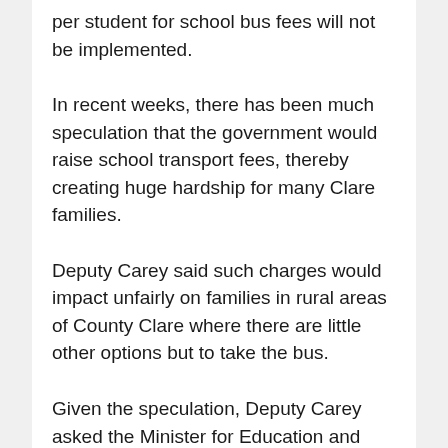per student for school bus fees will not be implemented.
In recent weeks, there has been much speculation that the government would raise school transport fees, thereby creating huge hardship for many Clare families.
Deputy Carey said such charges would impact unfairly on families in rural areas of County Clare where there are little other options but to take the bus.
Given the speculation, Deputy Carey asked the Minister for Education and Skills in Dáil Éireann what the position was in relation to the coming school year. Proposals